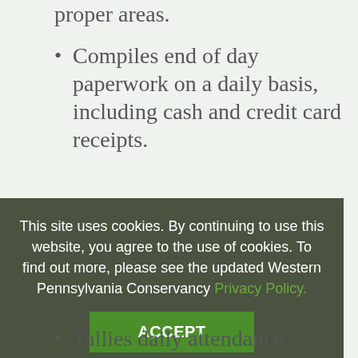proper areas.
Compiles end of day paperwork on a daily basis, including cash and credit card receipts.
Follows cash handling procedures in the admissions booth, information desk and
This site uses cookies. By continuing to use this website, you agree to the use of cookies. To find out more, please see the updated Western Pennsylvania Conservancy Privacy Policy.
Tallies daily attendance